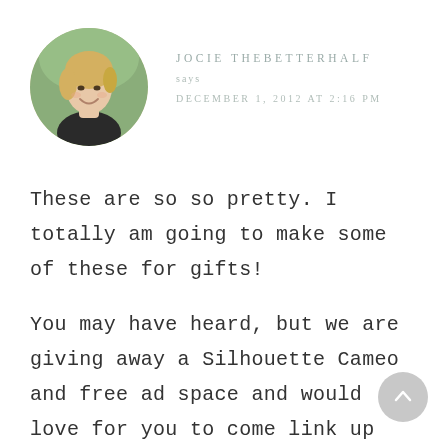[Figure (photo): Circular avatar photo of a smiling blonde woman outdoors]
JOCIE THEBETTERHALF
says
DECEMBER 1, 2012 AT 2:16 PM
These are so so pretty. I totally am going to make some of these for gifts!
You may have heard, but we are giving away a Silhouette Cameo and free ad space and would love for you to come link up and enter to win! Hope to see you